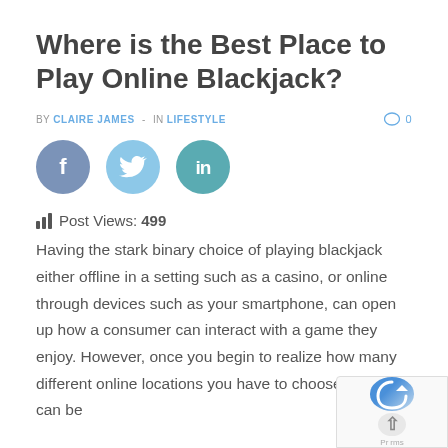Where is the Best Place to Play Online Blackjack?
BY CLAIRE JAMES - IN LIFESTYLE   0
[Figure (infographic): Social share buttons: Facebook (dark blue circle with f), Twitter (light blue circle with bird icon), LinkedIn (teal circle with in)]
Post Views: 499
Having the stark binary choice of playing blackjack either offline in a setting such as a casino, or online through devices such as your smartphone, can open up how a consumer can interact with a game they enjoy. However, once you begin to realize how many different online locations you have to choose from, it can be